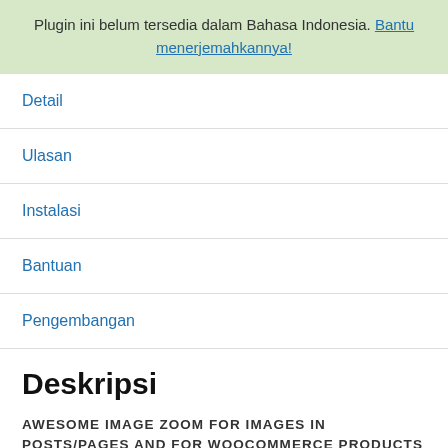Plugin ini belum tersedia dalam Bahasa Indonesia. Bantu menerjemahkannya!
Detail
Ulasan
Instalasi
Bantuan
Pengembangan
Deskripsi
AWESOME IMAGE ZOOM FOR IMAGES IN POSTS/PAGES AND FOR WOOCOMMERCE PRODUCTS
WP Image Zoom is a robust, modern and very configurable image zoom plugin. It allows you to